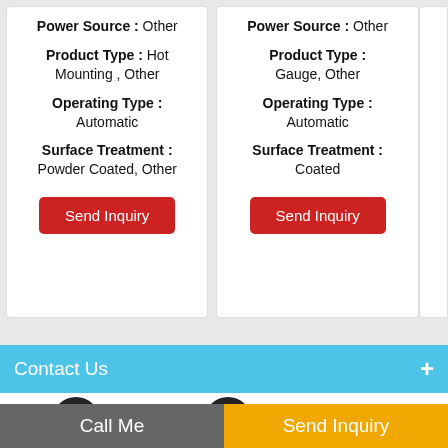Power Source : Other
Product Type : Hot Mounting , Other
Operating Type : Automatic
Surface Treatment : Powder Coated, Other
Power Source : Other
Product Type : Gauge, Other
Operating Type : Automatic
Surface Treatment : Coated
Contact Us +
[Figure (infographic): Two circular dark icons: envelope/email icon and phone icon]
Call Me
Send Inquiry